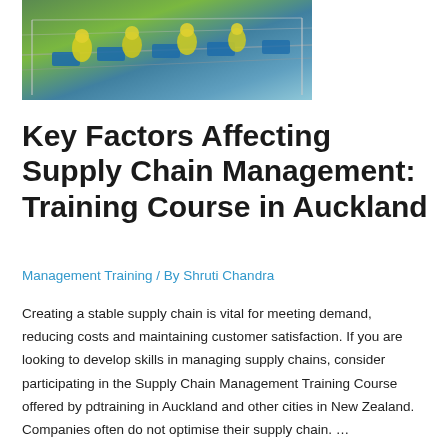[Figure (photo): Aerial view of factory workers in yellow protective gear and hair nets working on an industrial assembly/processing line with blue trays and metal equipment]
Key Factors Affecting Supply Chain Management: Training Course in Auckland
Management Training / By Shruti Chandra
Creating a stable supply chain is vital for meeting demand, reducing costs and maintaining customer satisfaction. If you are looking to develop skills in managing supply chains, consider participating in the Supply Chain Management Training Course offered by pdtraining in Auckland and other cities in New Zealand. Companies often do not optimise their supply chain. …